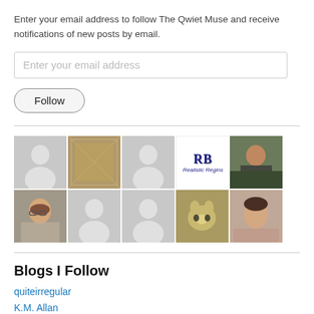Enter your email address to follow The Qwiet Muse and receive notifications of new posts by email.
[Figure (screenshot): Email input field with placeholder text 'Enter your email address']
[Figure (screenshot): Follow button with rounded border]
[Figure (infographic): Grid of user avatar thumbnails — 8 avatars in first row (some silhouettes, some photos, one 'RB' logo), 2 in second row (a cat photo and a woman's photo)]
Blogs I Follow
quiteirregular
K.M. Allan